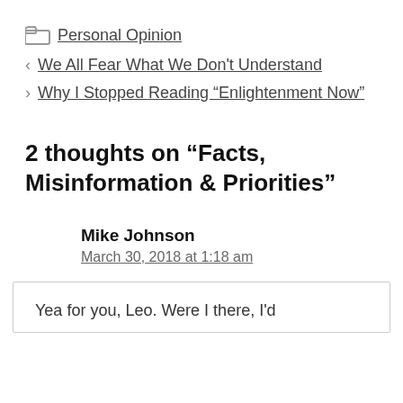Personal Opinion
< We All Fear What We Don't Understand
> Why I Stopped Reading “Enlightenment Now”
2 thoughts on “Facts, Misinformation & Priorities”
Mike Johnson
March 30, 2018 at 1:18 am
Yea for you, Leo. Were I there, I'd